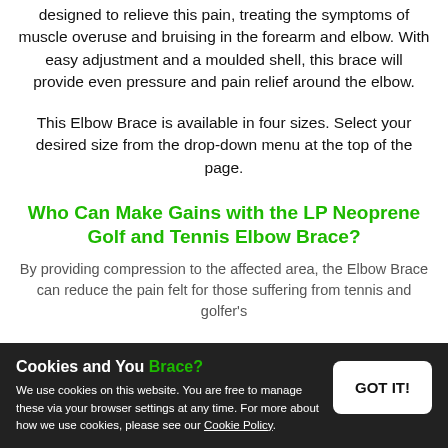designed to relieve this pain, treating the symptoms of muscle overuse and bruising in the forearm and elbow. With easy adjustment and a moulded shell, this brace will provide even pressure and pain relief around the elbow.
This Elbow Brace is available in four sizes. Select your desired size from the drop-down menu at the top of the page.
Who Can Make Gains with the LP Neoprene Golf and Tennis Elbow Brace?
By providing compression to the affected area, the Elbow Brace can reduce the pain felt for those suffering from tennis and golfer's
Cookies and You — GOT IT! — We use cookies on this website. You are free to manage these via your browser settings at any time. For more about how we use cookies, please see our Cookie Policy.